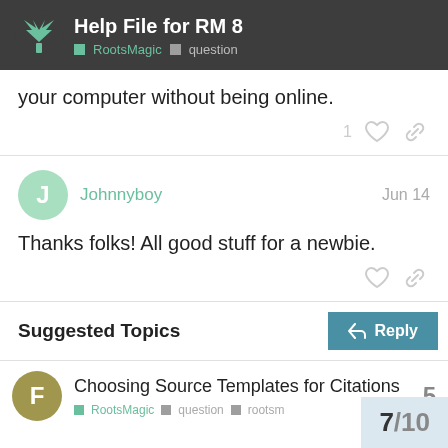Help File for RM 8 — RootsMagic · question
your computer without being online.
Johnnyboy  Jun 14
Thanks folks! All good stuff for a newbie.
Suggested Topics
Choosing Source Templates for Citations
RootsMagic  question  rootsm
7 / 10